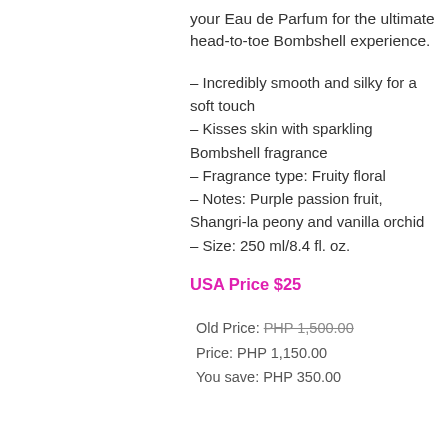your Eau de Parfum for the ultimate head-to-toe Bombshell experience.
– Incredibly smooth and silky for a soft touch
– Kisses skin with sparkling Bombshell fragrance
– Fragrance type: Fruity floral
– Notes: Purple passion fruit, Shangri-la peony and vanilla orchid
– Size: 250 ml/8.4 fl. oz.
USA Price $25
Old Price: PHP 1,500.00
Price: PHP 1,150.00
You save: PHP 350.00